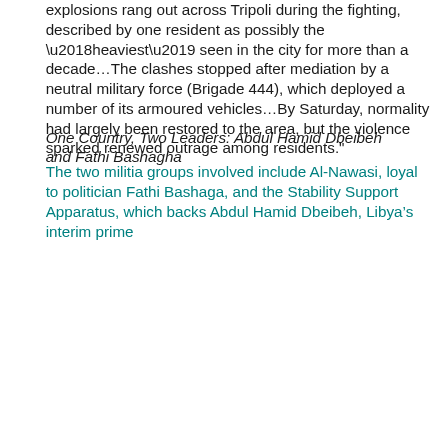explosions rang out across Tripoli during the fighting, described by one resident as possibly the ‘heaviest’ seen in the city for more than a decade…The clashes stopped after mediation by a neutral military force (Brigade 444), which deployed a number of its armoured vehicles…By Saturday, normality had largely been restored to the area, but the violence sparked renewed outrage among residents."
One Country, Two Leaders: Abdul Hamid Dbeibeh and Fathi Bashagha
The two militia groups involved include Al-Nawasi, loyal to politician Fathi Bashaga, and the Stability Support Apparatus, which backs Abdul Hamid Dbeibeh, Libya’s interim prime